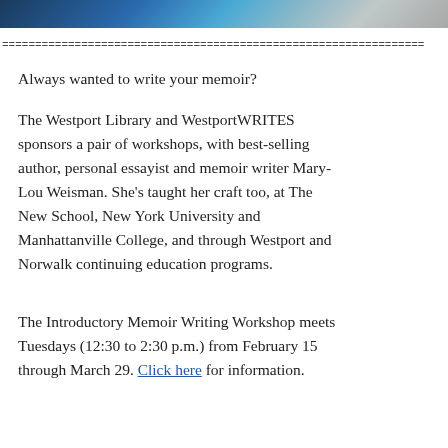[Figure (photo): Photo strip of people at top of page]
================================================================
Always wanted to write your memoir?
The Westport Library and WestportWRITES sponsors a pair of workshops, with best-selling author, personal essayist and memoir writer Mary-Lou Weisman. She’s taught her craft too, at The New School, New York University and Manhattanville College, and through Westport and Norwalk continuing education programs.
The Introductory Memoir Writing Workshop meets Tuesdays (12:30 to 2:30 p.m.) from February 15 through March 29. Click here for information.